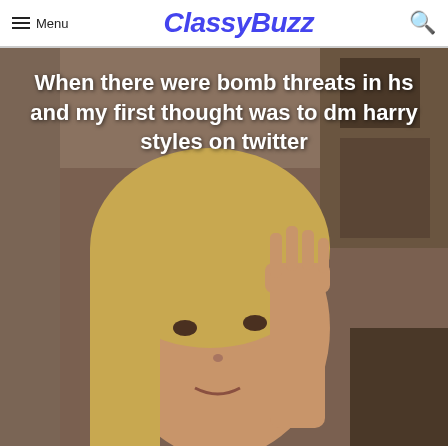Menu ClassyBuzz [search icon]
[Figure (screenshot): TikTok-style video screenshot of a young blonde woman with her hand raised to her face, overlaid with white text reading: 'When there were bomb threats in hs and my first thought was to dm harry styles on twitter']